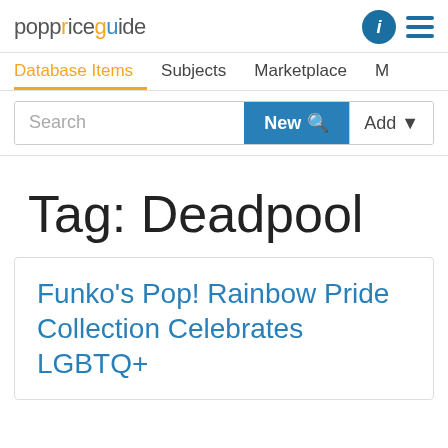poppriceguide
Database Items  Subjects  Marketplace  M
Search  New  Add
Tag: Deadpool
Funko’s Pop! Rainbow Pride Collection Celebrates LGBTQ+